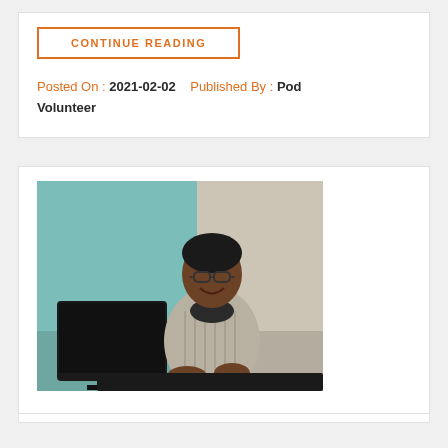CONTINUE READING
Posted On : 2021-02-02   Published By : Pod Volunteer
[Figure (photo): A smiling woman with glasses sitting at a desk with a computer monitor, photographed in an office setting with a teal and beige background.]